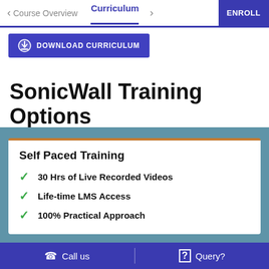< Course Overview   Curriculum  >   ENROLL
[Figure (screenshot): Download Curriculum button with download icon]
SonicWall Training Options
Self Paced Training
30 Hrs of Live Recorded Videos
Life-time LMS Access
100% Practical Approach
Call us   |   Query?